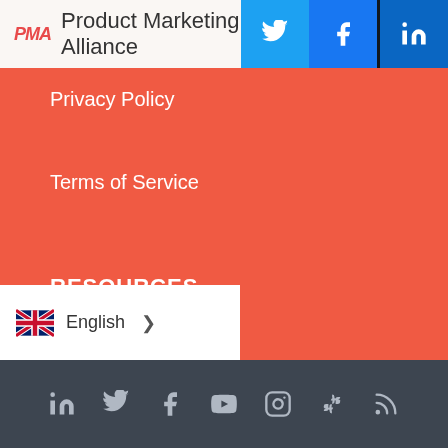Product Marketing Alliance
Privacy Policy
Terms of Service
RESOURCES
Podcasts
Reports
PMM tools
AMAs
English — social links: LinkedIn, Twitter, Facebook, YouTube, Instagram, Slack, RSS